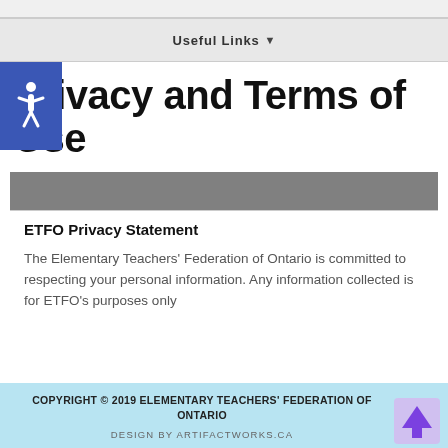Useful Links
Privacy and Terms of Use
ETFO Privacy Statement
The Elementary Teachers' Federation of Ontario is committed to respecting your personal information. Any information collected is for ETFO's purposes only
COPYRIGHT © 2019 ELEMENTARY TEACHERS' FEDERATION OF ONTARIO
DESIGN BY ARTIFACTWORKS.CA